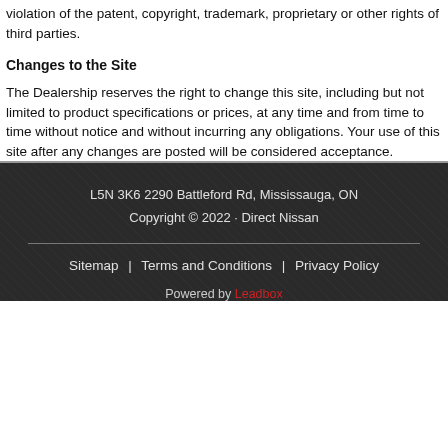violation of the patent, copyright, trademark, proprietary or other rights of third parties.
Changes to the Site
The Dealership reserves the right to change this site, including but not limited to product specifications or prices, at any time and from time to time without notice and without incurring any obligations. Your use of this site after any changes are posted will be considered acceptance.
L5N 3K6 2290 Battleford Rd, Mississauga, ON
Copyright © 2022 · Direct Nissan
Sitemap | Terms and Conditions | Privacy Policy
Powered by Leadbox